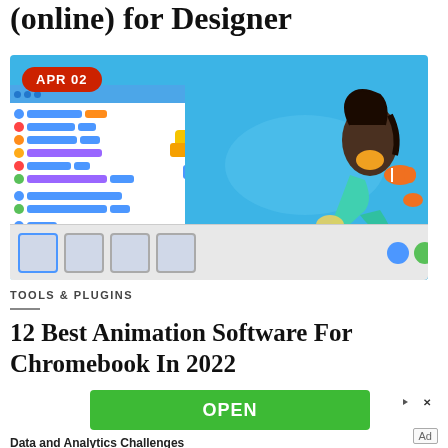(online) for Designer
[Figure (screenshot): Screenshot of Scratch animation software showing a mermaid underwater scene with fish, jellyfish, and coding blocks on the left panel. APR 02 badge in top left corner.]
TOOLS & PLUGINS
12 Best Animation Software For Chromebook In 2022
[Figure (other): Green advertisement bar with OPEN button and ad icons]
Data and Analytics Challenges
Ad